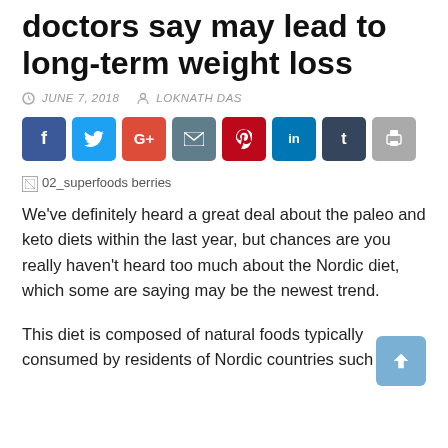doctors say may lead to long-term weight loss
JUNE 7, 2018   LOKNATH DAS
[Figure (other): Social sharing buttons: Facebook, Twitter, Google+, Email, Pinterest, LinkedIn, Tumblr, Print]
[Figure (photo): Broken image placeholder: 02_superfoods berries]
We've definitely heard a great deal about the paleo and keto diets within the last year, but chances are you really haven't heard too much about the Nordic diet, which some are saying may be the newest trend.
This diet is composed of natural foods typically consumed by residents of Nordic countries such as